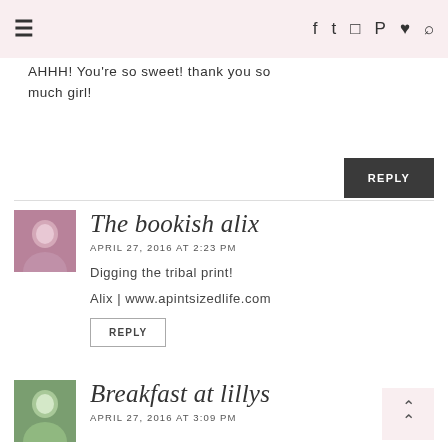≡  [navigation icons: facebook, twitter, instagram, pinterest, heart, search]
AHHH! You're so sweet! thank you so much girl!
REPLY
The bookish alix
APRIL 27, 2016 AT 2:23 PM
Digging the tribal print!
Alix | www.apintsizedlife.com
REPLY
Breakfast at lillys
APRIL 27, 2016 AT 3:09 PM